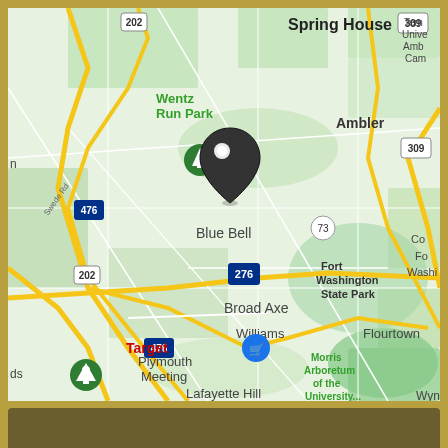[Figure (map): Google Maps screenshot showing Blue Bell, PA area with surrounding neighborhoods: Spring House, Wentz Run Park, Ambler, Broad Axe, Fort Washington State Park, Plymouth Meeting, Lafayette Hill, Morris Arboretum of the University, Flourtown, Williams, Target. Roads include 202, 476, 309, 2001, 73, 276. A black map pin marker is placed on Blue Bell.]